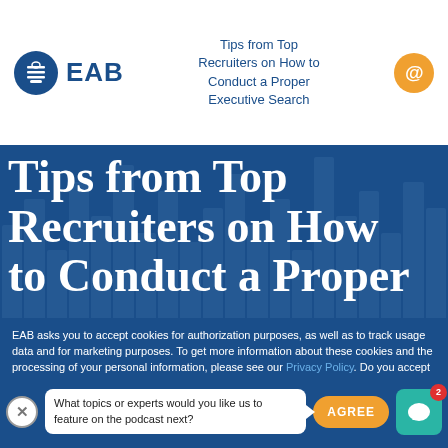Tips from Top Recruiters on How to Conduct a Proper Executive Search
Tips from Top Recruiters on How to Conduct a Proper
EAB asks you to accept cookies for authorization purposes, as well as to track usage data and for marketing purposes. To get more information about these cookies and the processing of your personal information, please see our Privacy Policy. Do you accept these cookies and the processing of your personal information involved?
What topics or experts would you like us to feature on the podcast next?